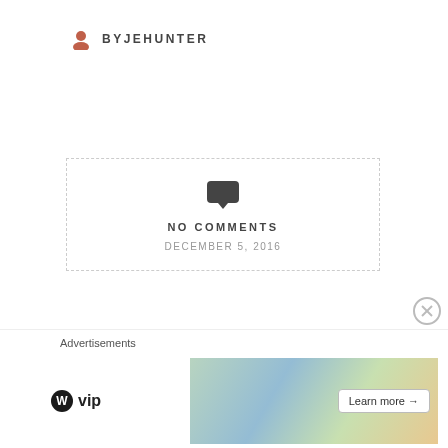BYJEHUNTER
[Figure (other): Dashed border box with speech bubble icon, NO COMMENTS text, and date DECEMBER 5, 2016]
It's a grey, frigid day and I'm stuck in my office. I've been horrible at both writing and reading and I don't even know where my time has gone this past week. I'm really hoping that December
Advertisements
[Figure (other): WordPress VIP advertisement banner with colorful background cards and Learn more button]